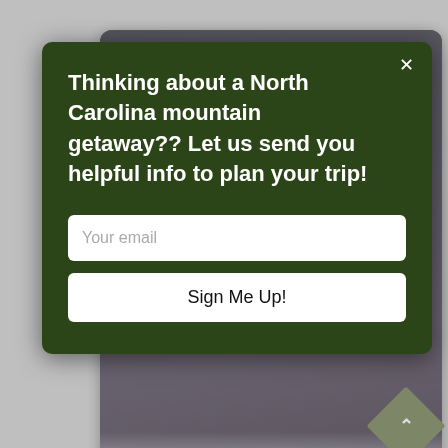[Figure (screenshot): Background web page showing vacation rental listings with two property cards. Top card partially visible showing a snowy scene with '2 Bedrooms, 2 Bathrooms'. Bottom card shows 'Falling Waters' property with autumn mountain view, '3 Bedrooms, 4 Bathrooms'. A diamond-shaped scroll-to-top button is visible on the right.]
2 Bedrooms, 2 Bathrooms
[Figure (photo): Autumn mountain view from a patio with red Adirondack chairs, stone pillars, and colorful fall foliage with distant mountain ridges visible under blue sky.]
Falling Waters
3 Bedrooms, 4 Bathrooms
[Figure (screenshot): Modal popup dialog with dark green background over the page. Contains title text, email input field, and Sign Me Up button.]
Thinking about a North Carolina mountain getaway?? Let us send you helpful info to plan your trip!
Your email
Sign Me Up!